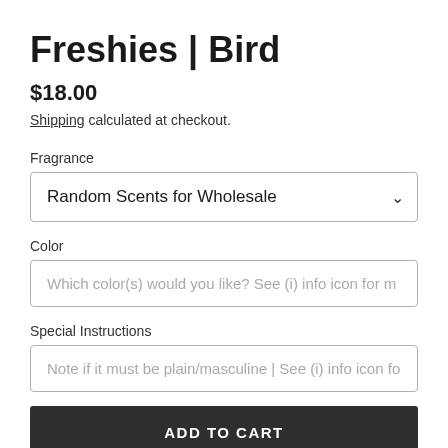Freshies | Bird
$18.00
Shipping calculated at checkout.
Fragrance
Random Scents for Wholesale
Color
Which color(s) would you like? See (i) info icon for m
Special Instructions
Note if it must be plain/masculine | See (i) info icon fo
ADD TO CART